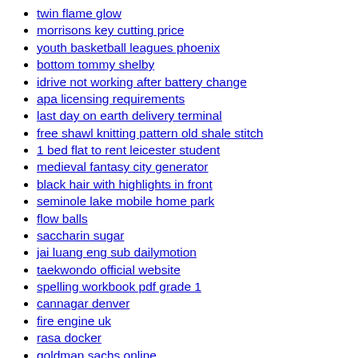twin flame glow
morrisons key cutting price
youth basketball leagues phoenix
bottom tommy shelby
idrive not working after battery change
apa licensing requirements
last day on earth delivery terminal
free shawl knitting pattern old shale stitch
1 bed flat to rent leicester student
medieval fantasy city generator
black hair with highlights in front
seminole lake mobile home park
flow balls
saccharin sugar
jai luang eng sub dailymotion
taekwondo official website
spelling workbook pdf grade 1
cannagar denver
fire engine uk
rasa docker
goldman sachs online
regal cherrydale
gmod csgo hands
when to reach out to an ex reddit
lennar stock news